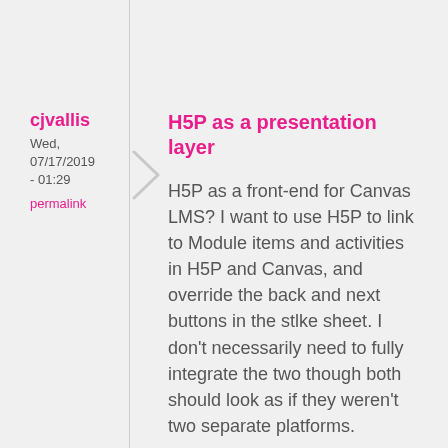cjvallis
Wed, 07/17/2019 - 01:29
permalink
H5P as a presentation layer
H5P as a front-end for Canvas LMS? I want to use H5P to link to Module items and activities in H5P and Canvas, and override the back and next buttons in the stlke sheet. I don't necessarily need to fully integrate the two though both should look as if they weren't two separate platforms.